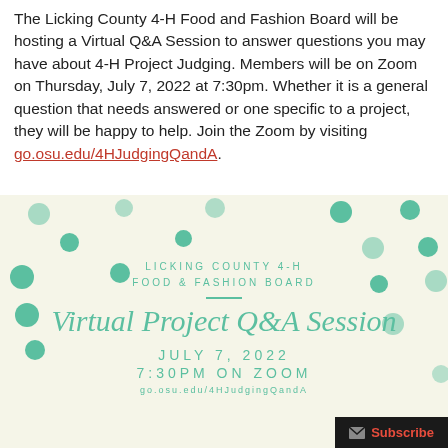The Licking County 4-H Food and Fashion Board will be hosting a Virtual Q&A Session to answer questions you may have about 4-H Project Judging. Members will be on Zoom on Thursday, July 7, 2022 at 7:30pm. Whether it is a general question that needs answered or one specific to a project, they will be happy to help. Join the Zoom by visiting go.osu.edu/4HJudgingQandA.
[Figure (infographic): Licking County 4-H Food & Fashion Board flyer on cream/off-white background with teal polka dots. Center text reads: LICKING COUNTY 4-H FOOD & FASHION BOARD, then a divider, then cursive 'Virtual Project Q&A Session', then JULY 7, 2022 / 7:30PM ON ZOOM / go.osu.edu/4HJudgingQand... A dark Subscribe button appears at the bottom right.]